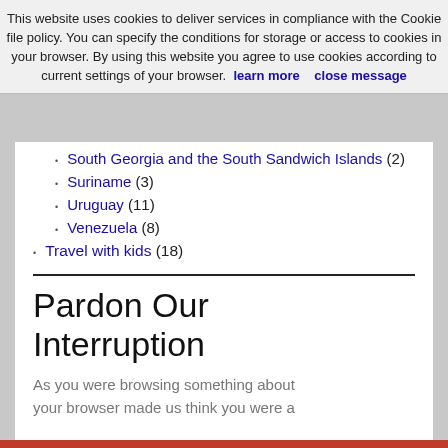This website uses cookies to deliver services in compliance with the Cookie file policy. You can specify the conditions for storage or access to cookies in your browser. By using this website you agree to use cookies according to current settings of your browser. learn more   close message
South Georgia and the South Sandwich Islands (2)
Suriname (3)
Uruguay (11)
Venezuela (8)
Travel with kids (18)
Pardon Our Interruption
As you were browsing something about your browser made us think you were a